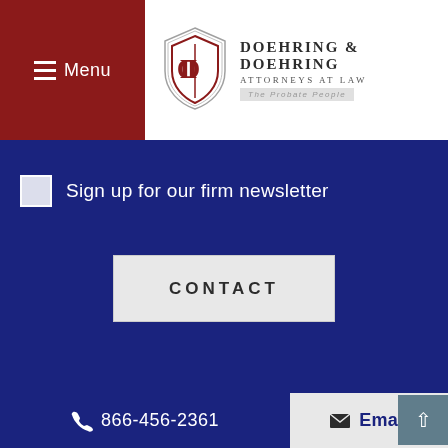[Figure (logo): Doehring & Doehring Attorneys at Law logo with shield emblem and tagline 'The Probate People']
≡ Menu
Sign up for our firm newsletter
CONTACT
866-456-2361
Email